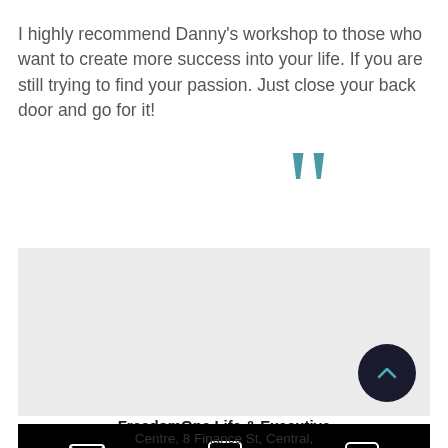I highly recommend Danny's workshop to those who want to create more success into your life. If you are still trying to find your passion. Just close your back door and go for it!
[Figure (illustration): Large teal/dark-cyan closing quotation marks decorative element]
[Figure (other): Gray section background area with a dark circular scroll-to-top button containing a chevron up arrow in teal]
FreedomOne Life & Executive
[Figure (other): Black navigation bar with email envelope icon, LinkedIn 'in' icon, and chat bubble icon in white]
Centre, 8 Finance St, Central,